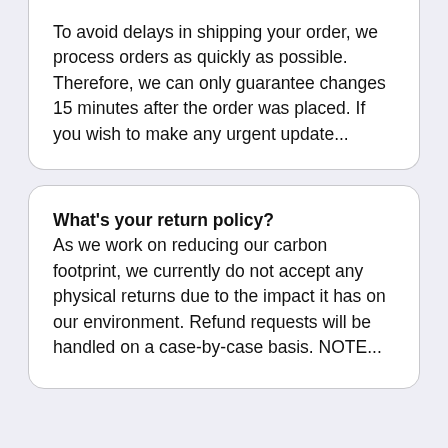To avoid delays in shipping your order, we process orders as quickly as possible. Therefore, we can only guarantee changes 15 minutes after the order was placed. If you wish to make any urgent update...
What's your return policy?
As we work on reducing our carbon footprint, we currently do not accept any physical returns due to the impact it has on our environment. Refund requests will be handled on a case-by-case basis. NOTE...